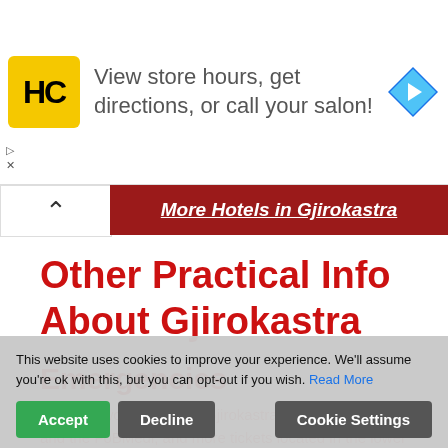[Figure (screenshot): Ad banner for HC (Hair Club) salon with yellow logo, text 'View store hours, get directions, or call your salon!', and blue navigation arrow icon]
More Hotels in Gjirokastra
Other Practical Info About Gjirokastra
Emergencies
There is two hospitals in Gjirokastra: the public hospital and the FoBMedi. The police station is located in the lower part of town. The police station is on Bulevardi 18 St... always call the fo...
This website uses cookies to improve your experience. We'll assume you're ok with this, but you can opt-out if you wish. Read More